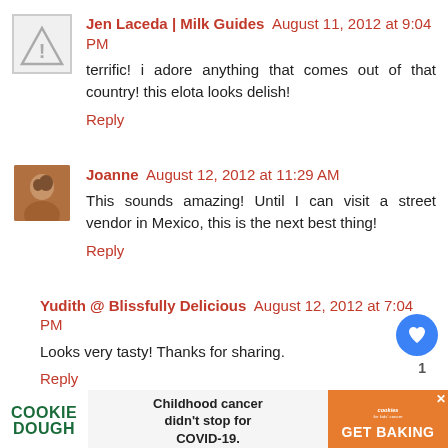Jen Laceda | Milk Guides  August 11, 2012 at 9:04 PM
terrific! i adore anything that comes out of that country! this elota looks delish!
Reply
Joanne  August 12, 2012 at 11:29 AM
This sounds amazing! Until I can visit a street vendor in Mexico, this is the next best thing!
Reply
Yudith @ Blissfully Delicious  August 12, 2012 at 7:04 PM
Looks very tasty! Thanks for sharing.
Reply
COOKIE DOUGH  Childhood cancer didn't stop for COVID-19.  cookies for kids' cancer  GET BAKING